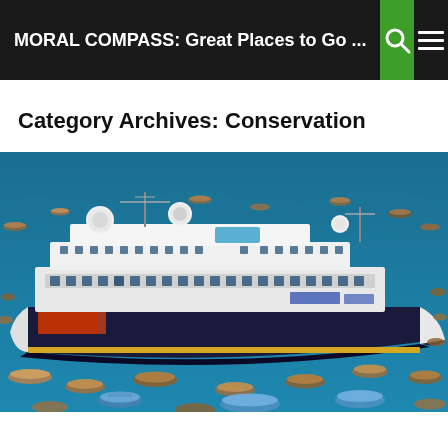MORAL COMPASS: Great Places to Go ...
Category Archives: Conservation
[Figure (photo): Aerial view of a large white cruise ship surrounded by numerous small boats on dark blue ocean water]